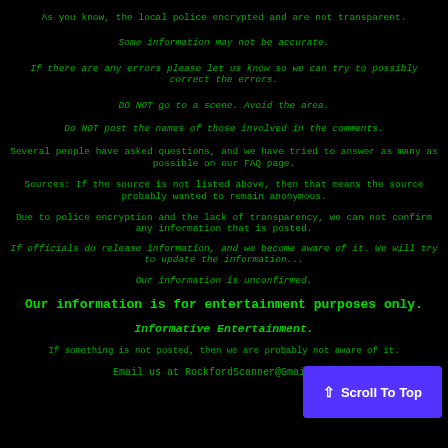As you know, the local police encrypted and are not transparent.
Some information may not be accurate.
If there are any errors please let us know so we can try to possibly correct the errors.
DO NOT go to a scene. Avoid the area.
Do NOT post the names of those involved in the comments.
Several people have asked questions, and we have tried to answer as many as possible on our FAQ page.
Sources: If the source is not listed above, then that means the source probably wanted to remain anonymous.
Due to police encryption and the lack of transparency, we can not confirm any information that is posted.
If officials do release information, and we become aware of it. We will try to update the information...
Our information is unconfirmed.
Our information is for entertainment purposes only.
Informative Entertainment.
If something is not posted, then we are probably not aware of it.
Email us at RockfordScanner@Gmail.com